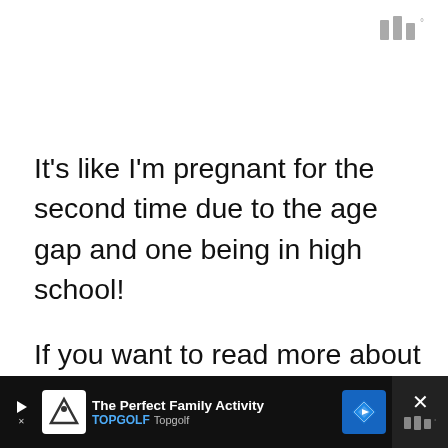[Figure (logo): Three vertical bars logo with degree symbol, gray color, top right corner]
It’s like I’m pregnant for the second time due to the age gap and one being in high school!
If you want to read more about when your baby bump will show this is a great article you might like When Do You Start
[Figure (infographic): Advertisement bar at bottom: The Perfect Family Activity - Topgolf, with navigation icon, close button with X and bars logo]